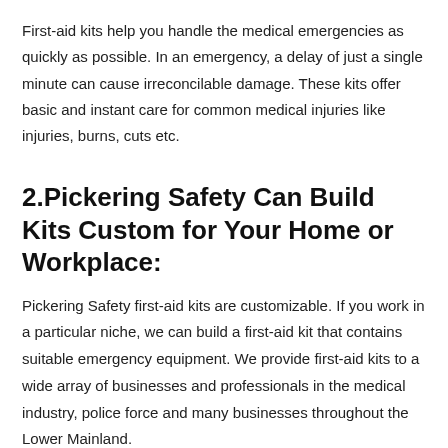First-aid kits help you handle the medical emergencies as quickly as possible. In an emergency, a delay of just a single minute can cause irreconcilable damage. These kits offer basic and instant care for common medical injuries like injuries, burns, cuts etc.
2.Pickering Safety Can Build Kits Custom for Your Home or Workplace:
Pickering Safety first-aid kits are customizable. If you work in a particular niche, we can build a first-aid kit that contains suitable emergency equipment. We provide first-aid kits to a wide array of businesses and professionals in the medical industry, police force and many businesses throughout the Lower Mainland.